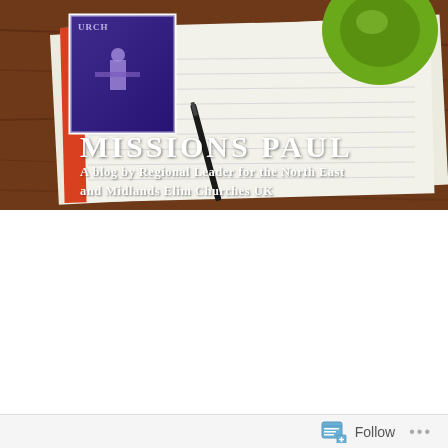[Figure (photo): Blog header image showing a notebook with red spine on a wooden desk with a green coffee cup, and a small profile photo inset in top left corner. Overlaid text reads 'MISSIONS PAUL' and subtitle.]
MISSIONS PAUL
A blog by Regional Leader for the North East and Midlands Elim Churches UK
MARCH 7, 2020 BY MISSIONSPAUL
The Virgin Mary and a battered onion ring
Virgin Mary and an order of onion rings